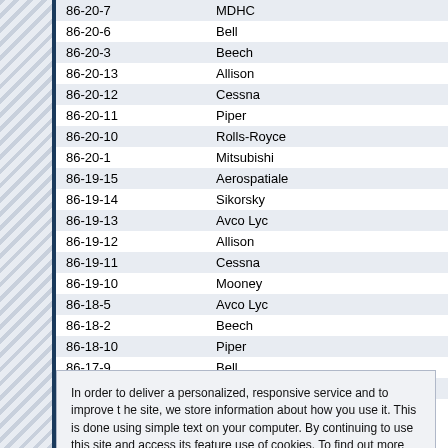| Code | Manufacturer |
| --- | --- |
| 86-20-7 | MDHC |
| 86-20-6 | Bell |
| 86-20-3 | Beech |
| 86-20-13 | Allison |
| 86-20-12 | Cessna |
| 86-20-11 | Piper |
| 86-20-10 | Rolls-Royce |
| 86-20-1 | Mitsubishi |
| 86-19-15 | Aerospatiale |
| 86-19-14 | Sikorsky |
| 86-19-13 | Avco Lyc |
| 86-19-12 | Allison |
| 86-19-11 | Cessna |
| 86-19-10 | Mooney |
| 86-18-5 | Avco Lyc |
| 86-18-2 | Beech |
| 86-18-10 | Piper |
| 86-17-9 | Bell |
| 86-17-7 | Piper |
In order to deliver a personalized, responsive service and to improve the site, we store information about how you use it. This is done using simple text files called cookies on your computer. By continuing to use this site and access its features, you are consenting to our use of cookies. To find out more about the way Informa uses cookies please go to our cookie policy page.